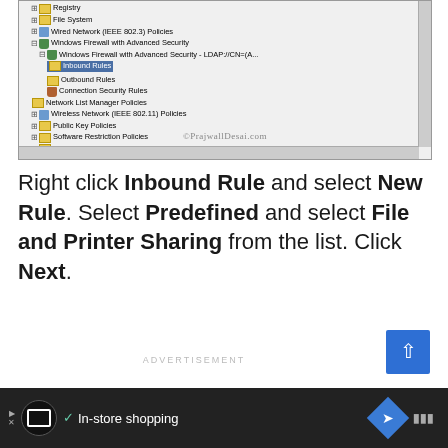[Figure (screenshot): Windows Group Policy Editor screenshot showing tree navigation with Inbound Rules selected under Windows Firewall with Advanced Security. Contains items: Registry, File System, Wired Network (IEEE 802.3) Policies, Windows Firewall with Advanced Security, Windows Firewall with Advanced Security - LDAP://CN=..., Inbound Rules (selected/highlighted), Outbound Rules, Connection Security Rules, Network List Manager Policies, Wireless Network (IEEE 802.11) Policies, Public Key Policies, Software Restriction Policies, Network Access Protection, Application Control Policies, IP Security Policies on Active Directory (PRAJWAL.LOCAL). Watermark: ©PrajwallDesai.com]
Right click Inbound Rule and select New Rule. Select Predefined and select File and Printer Sharing from the list. Click Next.
[Figure (screenshot): Advertisement banner at bottom: logo, checkmark, 'In-store shopping' text, blue diamond navigation icon, tally/menu icon. Dark background.]